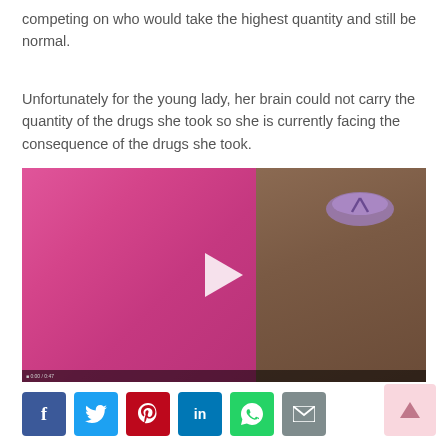competing on who would take the highest quantity and still be normal.
Unfortunately for the young lady, her brain could not carry the quantity of the drugs she took so she is currently facing the consequence of the drugs she took.
[Figure (screenshot): Video thumbnail showing a person in a pink outfit lying on a brown surface, with purple flip-flops visible. A white play button triangle is overlaid in the center.]
[Figure (infographic): Social media share buttons row: Facebook (blue), Twitter (light blue), Pinterest (red), LinkedIn (dark blue), WhatsApp (green), Email (grey). A pink scroll-to-top arrow button on the right.]